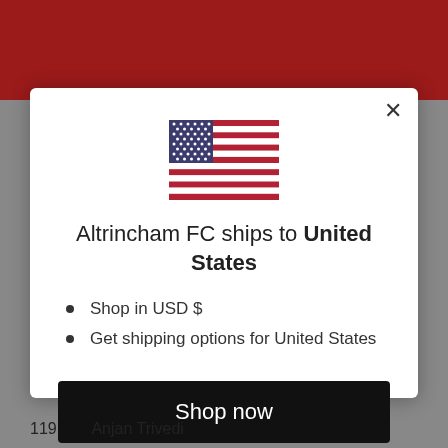[Figure (screenshot): Screenshot of Altrincham FC website with dark red header navigation bar]
[Figure (illustration): United States flag emoji illustration showing blue canton with white stars and alternating red and white stripes]
Altrincham FC ships to United States
Shop in USD $
Get shipping options for United States
Shop now
Change shipping country
119        Anjan Trivedi